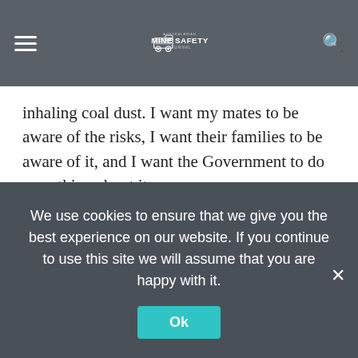Australasian Mine Safety Journal
inhaling coal dust. I want my mates to be aware of the risks, I want their families to be aware of it, and I want the Government to do something about it.
I know plenty of guys are too scared to get x-rays and speak out. There are people losing their jobs left right and centre in the mines right now and people are afraid they'll be next – they don't want to raise concerns. But they need to speak up, they need to get tested and they need to go home healthy to their families.
Privacy & Cookies: This site uses cookies. By continuing to use this
We use cookies to ensure that we give you the best experience on our website. If you continue to use this site we will assume that you are happy with it.